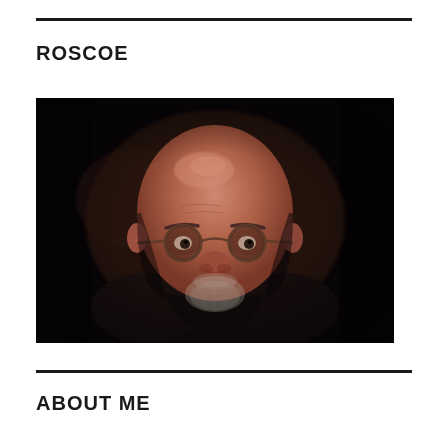ROSCOE
[Figure (photo): A bald man with round wire-framed glasses and a short beard/goatee, wearing a dark shirt, photographed in dim indoor lighting against a dark background.]
ABOUT ME